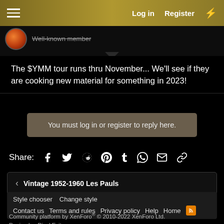Log in  Register
Well-known member
The $YMM tour runs thru November... We'll see if they are cooking new material for something in 2023!
You must log in or register to reply here.
Share:
< Vintage 1952-1960 Les Pauls
Style chooser  Change style  Contact us  Terms and rules  Privacy policy  Help  Home
Community platform by XenForo® © 2010-2022 XenForo Ltd.
Design by: Pixel Exit